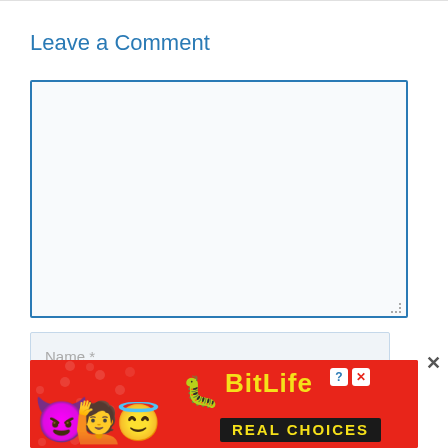Leave a Comment
[Figure (screenshot): Empty comment text area input box with blue border]
[Figure (screenshot): Name input field with placeholder text 'Name *' and a close (x) button]
[Figure (screenshot): BitLife advertisement banner with emoji characters (devil, person, angel, sperm), BitLife logo text in yellow, and 'REAL CHOICES' text on dark background, on red polka dot background]